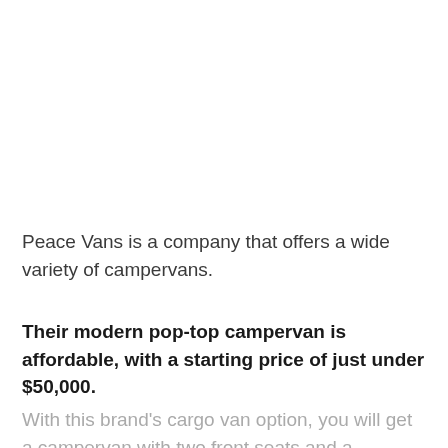Peace Vans is a company that offers a wide variety of campervans.
Their modern pop-top campervan is affordable, with a starting price of just under $50,000.
With this brand's cargo van option, you will get a campervan with two front seats and a...